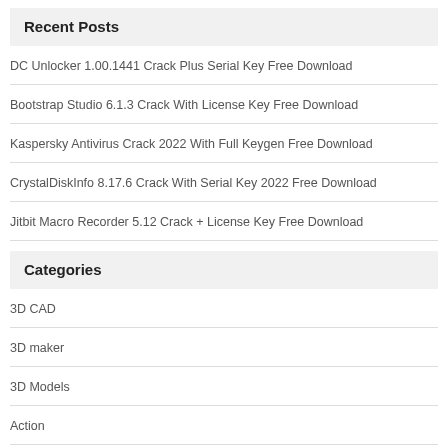Recent Posts
DC Unlocker 1.00.1441 Crack Plus Serial Key Free Download
Bootstrap Studio 6.1.3 Crack With License Key Free Download
Kaspersky Antivirus Crack 2022 With Full Keygen Free Download
CrystalDiskInfo 8.17.6 Crack With Serial Key 2022 Free Download
Jitbit Macro Recorder 5.12 Crack + License Key Free Download
Categories
3D CAD
3D maker
3D Models
Action
Adobe Softwares